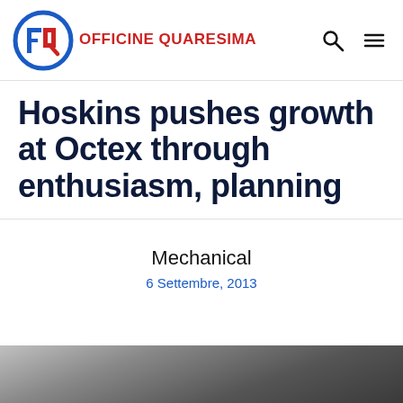OFFICINE QUARESIMA
Hoskins pushes growth at Octex through enthusiasm, planning
Mechanical
6 Settembre, 2013
[Figure (photo): Dark grey textured background image at bottom of page]